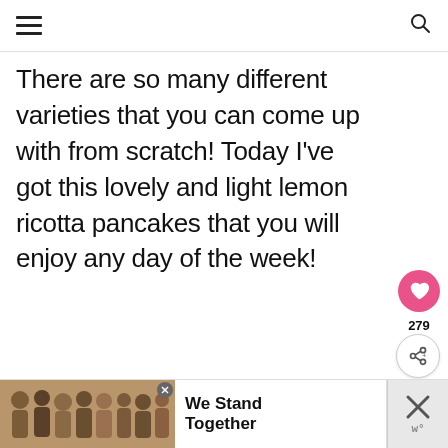≡  [search icon]
There are so many different varieties that you can come up with from scratch! Today I've got this lovely and light lemon ricotta pancakes that you will enjoy any day of the week!
[Figure (photo): Stack of lemon ricotta pancakes on a gray plate with lemon wedges in the background]
[Figure (infographic): Advertisement banner: group of people with arms around each other, text reads 'We Stand Together' with close buttons]